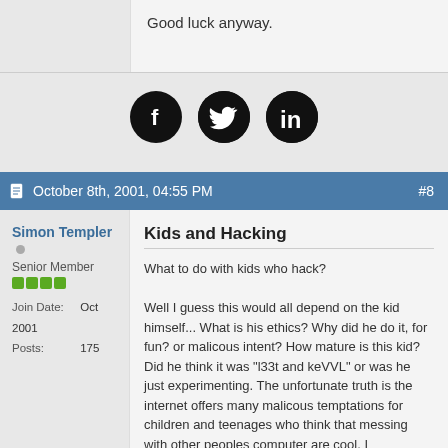Good luck anyway.
[Figure (other): Social media share icons: Facebook, Twitter, LinkedIn (black circles with white logos)]
October 8th, 2001, 04:55 PM  #8
Simon Templer
Senior Member
Join Date: Oct 2001
Posts: 175
Kids and Hacking
What to do with kids who hack?

Well I guess this would all depend on the kid himself... What is his ethics? Why did he do it, for fun? or malicous intent? How mature is this kid? Did he think it was "l33t and keVVL" or was he just experimenting. The unfortunate truth is the internet offers many malicous temptations for children and teenages who think that messing with other peoples computer are cool. I